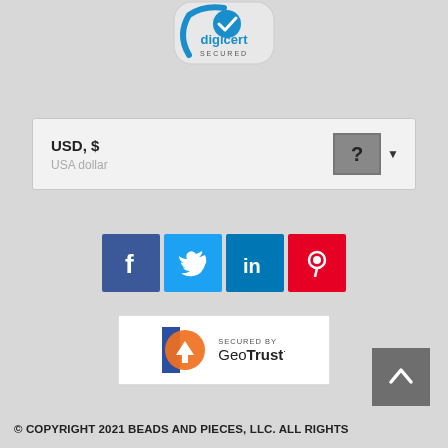[Figure (logo): DigiCert Secured logo at the top center]
USD, $
USA dollar
[Figure (logo): Social media icons: Facebook, Twitter, LinkedIn, Pinterest]
[Figure (logo): Secured by GeoTrust badge]
© COPYRIGHT 2021 BEADS AND PIECES, LLC. ALL RIGHTS